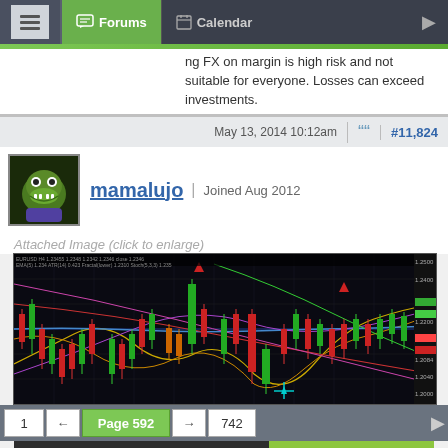Forums | Calendar
ng FX on margin is high risk and not suitable for everyone. Losses can exceed investments.
May 13, 2014 10:12am  #11,824
mamalujo | Joined Aug 2012
Attached Image (click to enlarge)
[Figure (continuous-plot): Candlestick forex trading chart on black background with red and green candles, multiple indicator lines (yellow, blue, red, purple, green), technical analysis overlays, and price scale on right side showing values around 1.2000-1.2500]
1  ←  Page 592  →  742
[Figure (infographic): OANDA advertisement banner: 'SWITCH TO A BROKER WITH INTEGRITY' on dark background on left, OANDA logo with 'TRADE NOW' on green background on right]